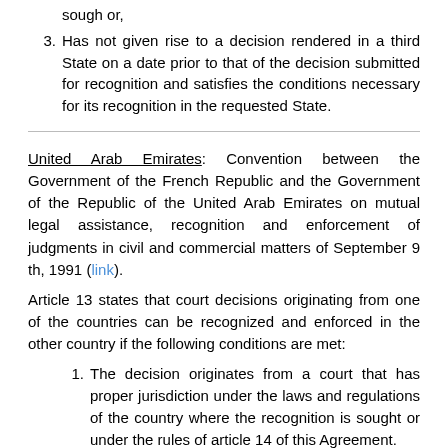3. Has not given rise to a decision rendered in a third State on a date prior to that of the decision submitted for recognition and satisfies the conditions necessary for its recognition in the requested State.
United Arab Emirates: Convention between the Government of the French Republic and the Government of the Republic of the United Arab Emirates on mutual legal assistance, recognition and enforcement of judgments in civil and commercial matters of September 9 th, 1991 (link).
Article 13 states that court decisions originating from one of the countries can be recognized and enforced in the other country if the following conditions are met:
1. The decision originates from a court that has proper jurisdiction under the laws and regulations of the country where the recognition is sought or under the rules of article 14 of this Agreement.